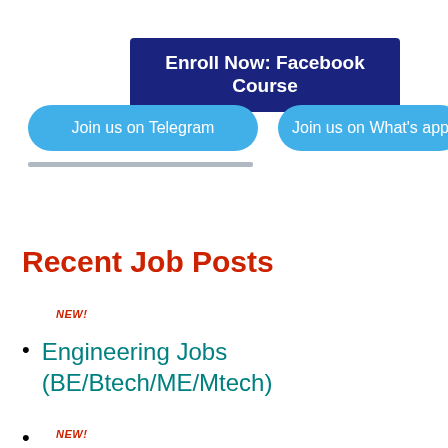[Figure (infographic): Dark navy blue rectangular button with white bold text: 'Enroll Now: Facebook Course']
[Figure (infographic): Light blue rounded pill button with white text: 'Join us on Telegram']
[Figure (infographic): Light blue rounded pill button with white text: 'Join us on What’s app']
Recent Job Posts
NEW!
Engineering Jobs (BE/Btech/ME/Mtech)
NEW!